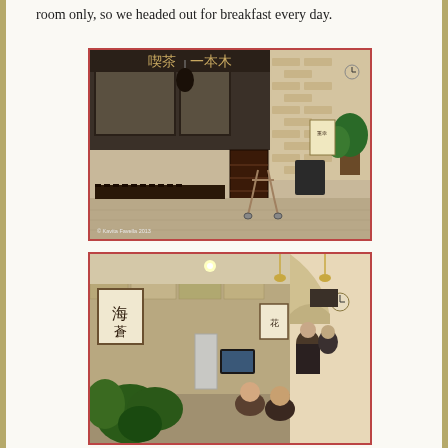room only, so we headed out for breakfast every day.
[Figure (photo): Exterior of a Japanese coffee shop (kissaten) with dark wood door, Japanese signage reading 一本木, wine bottles displayed along the base, a walker/rollator on the sidewalk, plants and menu boards. Copyright Kavita Favella 2013.]
[Figure (photo): Interior of a Japanese coffee shop with stone/brick walls, hanging calligraphy art, plants in foreground, patrons seated, staff behind counter, refrigerator and TV visible.]